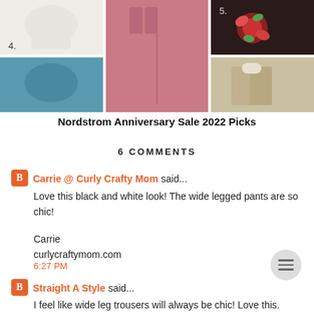[Figure (photo): Shopping grid showing 5 clothing items: item 4 (cream sweater top left), pink wide-leg pants (center, spanning two rows), item 5 (floral top right), teal patterned item (bottom left), khaki jacket (bottom right).]
Nordstrom Anniversary Sale 2022 Picks
6 COMMENTS
Carrie @ Curly Crafty Mom said...
Love this black and white look! The wide legged pants are so chic!
Carrie
curlycraftymom.com
6:27 PM
Straight A Style said...
I feel like wide leg trousers will always be chic! Love this.